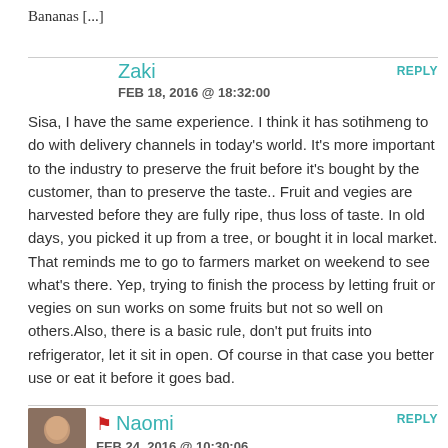Bananas [...]
Zaki
FEB 18, 2016 @ 18:32:00
Sisa, I have the same experience. I think it has sotihmeng to do with delivery channels in today's world. It's more important to the industry to preserve the fruit before it's bought by the customer, than to preserve the taste.. Fruit and vegies are harvested before they are fully ripe, thus loss of taste. In old days, you picked it up from a tree, or bought it in local market. That reminds me to go to farmers market on weekend to see what's there. Yep, trying to finish the process by letting fruit or vegies on sun works on some fruits but not so well on others.Also, there is a basic rule, don't put fruits into refrigerator, let it sit in open. Of course in that case you better use or eat it before it goes bad.
REPLY
Naomi
FEB 24, 2016 @ 10:30:06
REPLY